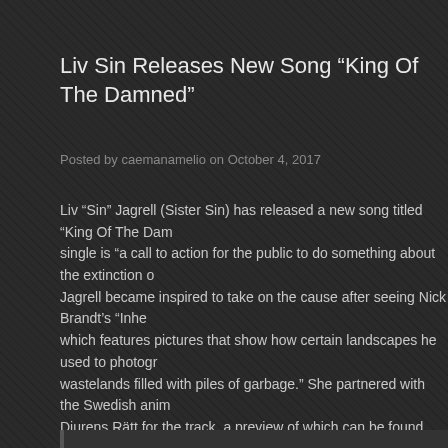Liv Sin Releases New Song “King Of The Damned”
Posted by caemanamelio on October 4, 2017
Liv “Sin” Jagrell (Sister Sin) has released a new song titled “King Of The Dam… single is “a call to action for the public to do something about the extinction o… Jagrell became inspired to take on the cause after seeing Nick Brandt’s “Inhe… which features pictures that show how certain landscapes he used to photogr… wastelands filled with piles of garbage.” She partnered with the Swedish anim… Djurens Rätt for the track, a preview of which can be found below. Jargrell co…
“This is extremely depressing and not flattering for mankind. Unfortunatel… are heading if we do nothing. Remember “Lion King”? Well, soon there is… “King of the Jungle” left. The few lions left will become the “King of the Da…
Privacy & Cookies: This site uses cookies. By continuing to use this website, you agree to their use.
To find out more, including how to control cookies, see here: Cookie Policy
Close and accept